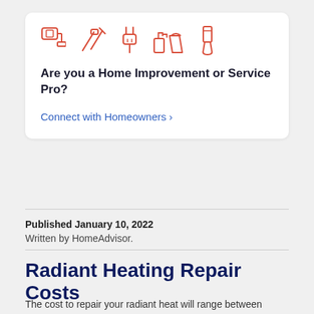[Figure (illustration): Row of five red outline icons representing home improvement tools: a paint roller, crossed hammer and screwdriver, an electrical plug, a spray bottle and bucket, and a paint brush.]
Are you a Home Improvement or Service Pro?
Connect with Homeowners >
Published January 10, 2022
Written by HomeAdvisor.
Radiant Heating Repair Costs
The cost to repair your radiant heat will range between